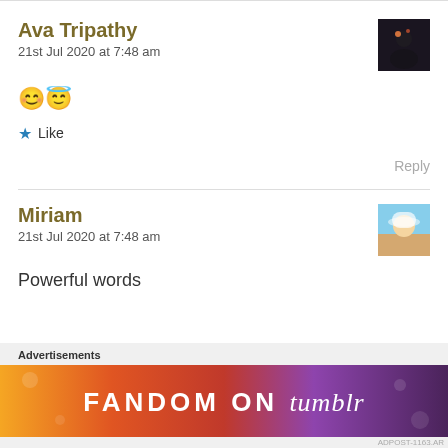Ava Tripathy
21st Jul 2020 at 7:48 am
😊😇
★ Like
Reply
Miriam
21st Jul 2020 at 7:48 am
Powerful words
Advertisements
[Figure (illustration): Fandom on Tumblr advertisement banner with colorful gradient background]